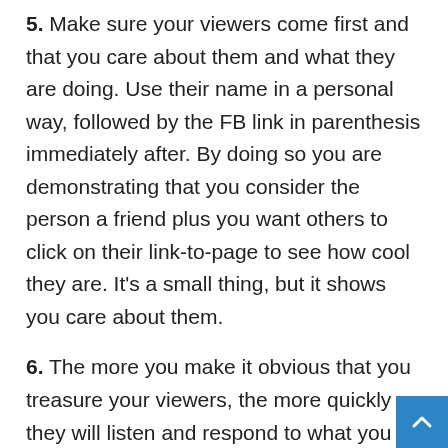5. Make sure your viewers come first and that you care about them and what they are doing. Use their name in a personal way, followed by the FB link in parenthesis immediately after. By doing so you are demonstrating that you consider the person a friend plus you want others to click on their link-to-page to see how cool they are. It's a small thing, but it shows you care about them.
6. The more you make it obvious that you treasure your viewers, the more quickly they will listen and respond to what you have to say.
7. Make a point of visiting everyone's page, share any cool findings with enthusiastic comments. This serves to weed out the folks who may not be what you are looking for, plus it makes the ones you are looking for feel very...